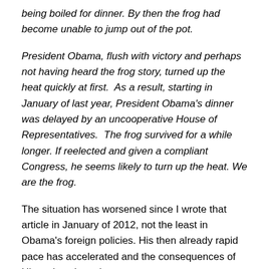being boiled for dinner. By then the frog had become unable to jump out of the pot.
President Obama, flush with victory and perhaps not having heard the frog story, turned up the heat quickly at first.  As a result, starting in January of last year, President Obama's dinner was delayed by an uncooperative House of Representatives.  The frog survived for a while longer. If reelected and given a compliant Congress, he seems likely to turn up the heat. We are the frog.
The situation has worsened since I wrote that article in January of 2012, not the least in Obama's foreign policies. His then already rapid pace has accelerated and the consequences of His actions have become more “transformational.” In no particular order, He has done His utmost to enhance racial divisions, to conduct His own